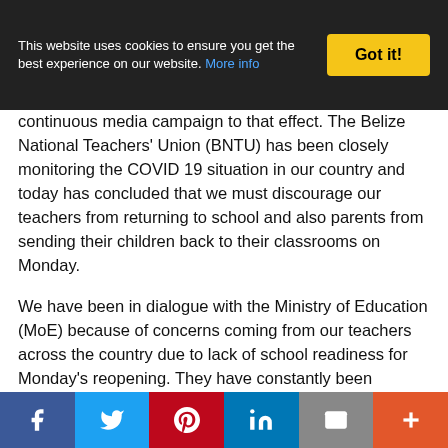This website uses cookies to ensure you get the best experience on our website. More info | Got it!
continuous media campaign to that effect. The Belize National Teachers' Union (BNTU) has been closely monitoring the COVID 19 situation in our country and today has concluded that we must discourage our teachers from returning to school and also parents from sending their children back to their classrooms on Monday.
We have been in dialogue with the Ministry of Education (MoE) because of concerns coming from our teachers across the country due to lack of school readiness for Monday's reopening. They have constantly been reporting to the Union headquarters that many of their schools, especially those in rural areas, are unable to make the necessary infrastructural changes and to procure sufficient sanitization products to sustain the recommended daily protocols to keep our children and themselves safe. Unfortunately, Moe's response has been
Facebook | Twitter | Pinterest | LinkedIn | Email | More